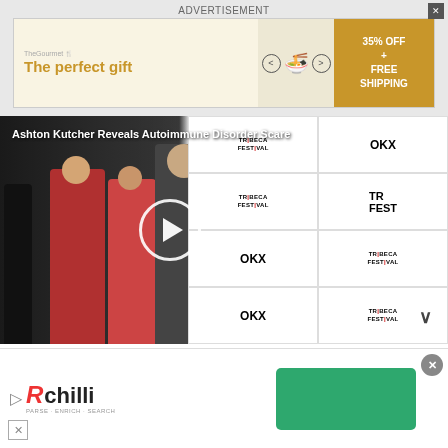ADVERTISEMENT
[Figure (other): Advertisement banner: The perfect gift with chef/cooking items, 35% OFF + FREE SHIPPING offer]
[Figure (photo): Video thumbnail: Ashton Kutcher at Tribeca Festival with play button overlay. Title: Ashton Kutcher Reveals Autoimmune Disorder Scare]
AD
[Figure (other): Sticky bottom advertisement with RChilli logo and green CTA button]